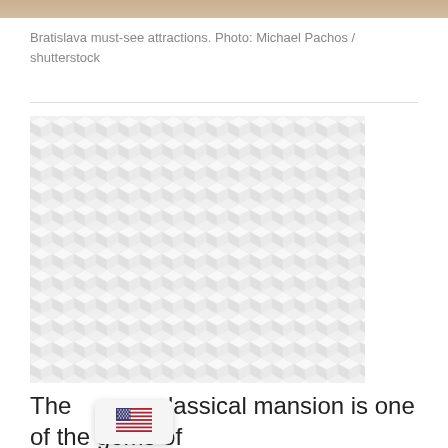[Figure (photo): Partial strip of a photo showing Bratislava attractions at the very top of the page]
Bratislava must-see attractions. Photo: Michael Pachos / shutterstock
[Figure (photo): Placeholder image area with a light grey/white diamond or cube pattern texture background]
The classical mansion is one of the gems of